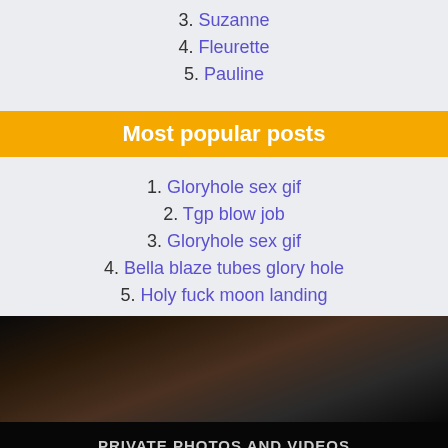3. Suzanne
4. Fleurette
5. Pauline
Most popular posts
1. Gloryhole sex gif
2. Tgp blow job
3. Gloryhole sex gif
4. Bella blaze tubes glory hole
5. Holy fuck moon landing
[Figure (screenshot): Video player screenshot with dark background showing a person, overlaid with a popup reading PRIVATE PHOTOS AND VIDEOS with a GO! button]